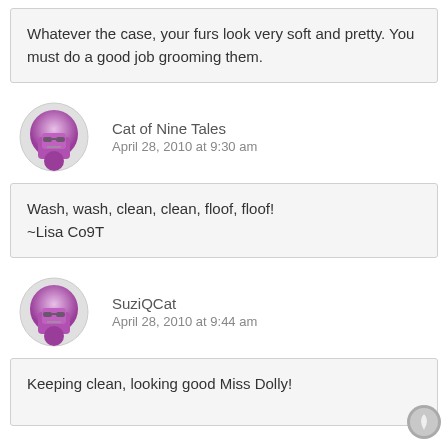Whatever the case, your furs look very soft and pretty. You must do a good job grooming them.
Cat of Nine Tales
April 28, 2010 at 9:30 am
Wash, wash, clean, clean, floof, floof!
~Lisa Co9T
SuziQCat
April 28, 2010 at 9:44 am
Keeping clean, looking good Miss Dolly!